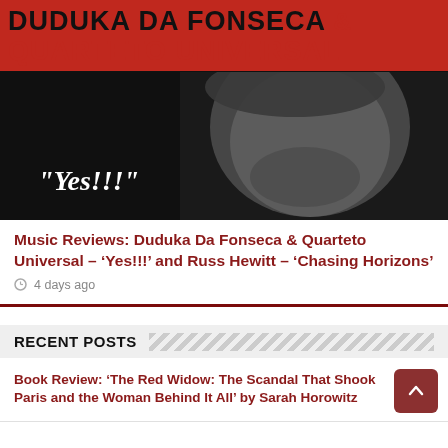[Figure (photo): Album cover for Duduka Da Fonseca & Quarteto Universal 'Yes!!!' — red band at top with artist name in black/red bold text, black-and-white photo of a bearded man, italic white text 'Yes!!!' overlaid on dark background.]
Music Reviews: Duduka Da Fonseca & Quarteto Universal – 'Yes!!!' and Russ Hewitt – 'Chasing Horizons'
4 days ago
RECENT POSTS
Book Review: 'The Red Widow: The Scandal That Shook Paris and the Woman Behind It All' by Sarah Horowitz